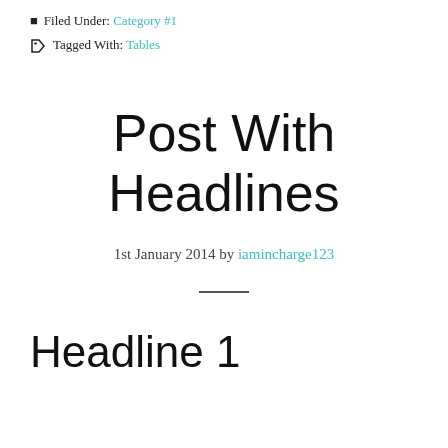Filed Under: Category #1
Tagged With: Tables
Post With Headlines
1st January 2014 by iamincharge123
Headline 1